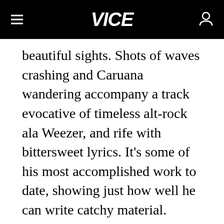VICE
beautiful sights. Shots of waves crashing and Caruana wandering accompany a track evocative of timeless alt-rock ala Weezer, and rife with bittersweet lyrics. It's some of his most accomplished work to date, showing just how well he can write catchy material.
ADVERTISEMENT
[Figure (other): Advertisement placeholder image icon showing a mountain/landscape symbol inside a square border]